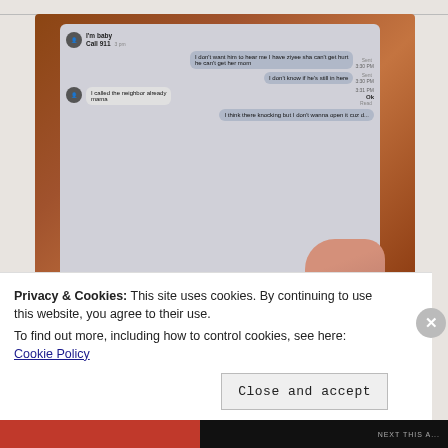[Figure (screenshot): Photo of a smartphone displaying a text message conversation. Messages visible include: 'I'm baby', 'Call 911', 'I don't want him to hear me I have ziyee sha can't get hurt', 'he can't get her mom', 'I don't know if he's still in here', 'I called the neighbor already mama', 'Ok', 'I think there knocking but I don't wanna open it cuz d...'. A hand is visible holding the phone.]
Privacy & Cookies: This site uses cookies. By continuing to use this website, you agree to their use.
To find out more, including how to control cookies, see here: Cookie Policy
Close and accept